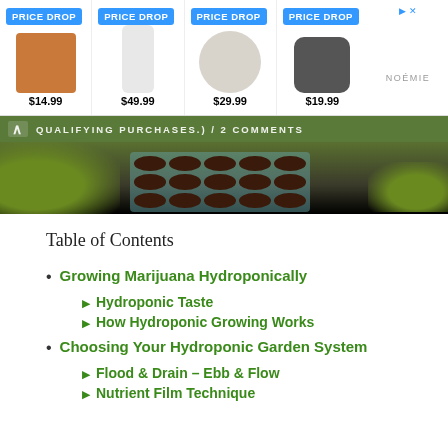[Figure (screenshot): Advertisement banner with four product images each showing PRICE DROP badge. Products: brown leather keychain $14.99, white phone case $49.99, white coin purse $29.99, black AirPods case $19.99. Noemie brand logo on right.]
QUALIFYING PURCHASES.) / 2 COMMENTS
[Figure (photo): Hero image showing seed tray with dark round seed pods in a grid pattern on blue-gray background, surrounded by olive green foliage.]
Table of Contents
Growing Marijuana Hydroponically
Hydroponic Taste
How Hydroponic Growing Works
Choosing Your Hydroponic Garden System
Flood & Drain – Ebb & Flow
Nutrient Film Technique